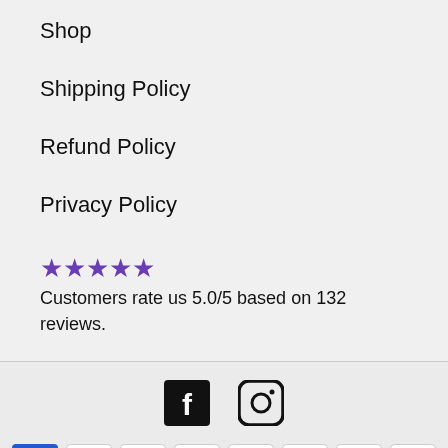Shop
Shipping Policy
Refund Policy
Privacy Policy
★★★★★ Customers rate us 5.0/5 based on 132 reviews.
[Figure (logo): Facebook and Instagram social media icons]
[Figure (logo): Payment method icons: Amex, Apple Pay, Diners Club, Discover, Meta Pay, Google Pay, Mastercard, PayPal]